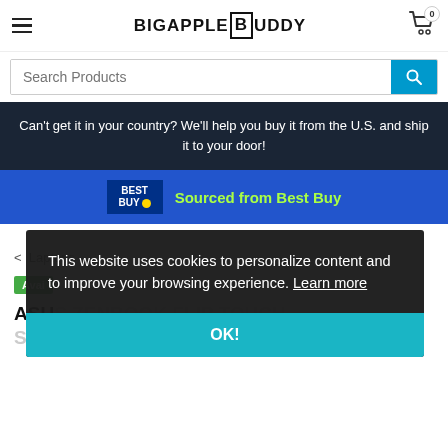BIGAPPLEBUDDY
Search Products
Can't get it in your country? We'll help you buy it from the U.S. and ship it to your door!
Sourced from Best Buy
< Laptons
Avai
ASU... S ZENBOOK FLIP TOUCH-SCREEN LAPTOP - INTEL CORE I7 -
This website uses cookies to personalize content and to improve your browsing experience. Learn more
OK!